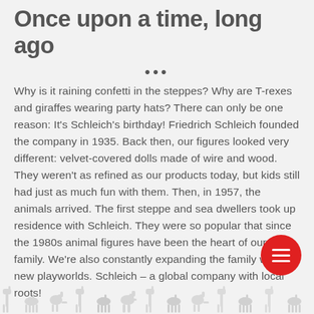Once upon a time, long ago
•••
Why is it raining confetti in the steppes? Why are T-rexes and giraffes wearing party hats? There can only be one reason: It's Schleich's birthday! Friedrich Schleich founded the company in 1935. Back then, our figures looked very different: velvet-covered dolls made of wire and wood. They weren't as refined as our products today, but kids still had just as much fun with them. Then, in 1957, the animals arrived. The first steppe and sea dwellers took up residence with Schleich. They were so popular that since the 1980s animal figures have been the heart of our family. We're also constantly expanding the family with new playworlds. Schleich – a global company with local roots!
[Figure (illustration): Red circular menu button with three white horizontal lines (hamburger icon)]
[Figure (illustration): Row of light gray animal silhouettes (giraffes, horses, dinosaurs, etc.) along the bottom of the page]